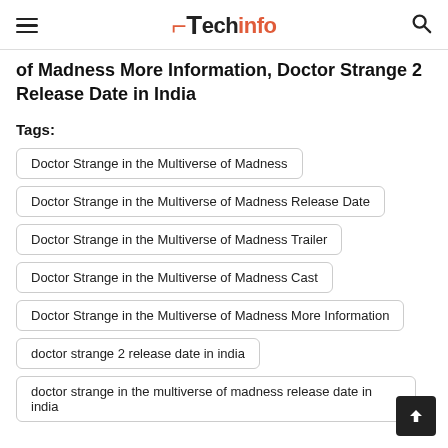Techinfo
of Madness More Information, Doctor Strange 2 Release Date in India
Tags:
Doctor Strange in the Multiverse of Madness
Doctor Strange in the Multiverse of Madness Release Date
Doctor Strange in the Multiverse of Madness Trailer
Doctor Strange in the Multiverse of Madness Cast
Doctor Strange in the Multiverse of Madness More Information
doctor strange 2 release date in india
doctor strange in the multiverse of madness release date in india